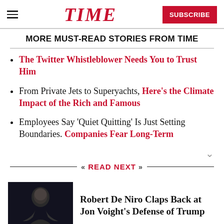TIME | SUBSCRIBE
MORE MUST-READ STORIES FROM TIME
The Twitter Whistleblower Needs You to Trust Him
From Private Jets to Superyachts, Here's the Climate Impact of the Rich and Famous
Employees Say 'Quiet Quitting' Is Just Setting Boundaries. Companies Fear Long-Term
READ NEXT
Robert De Niro Claps Back at Jon Voight's Defense of Trump